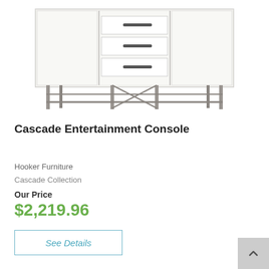[Figure (photo): White entertainment console with three center drawers with dark handles, two side cabinet doors, and a metal frame base with cross-bar stretchers]
Cascade Entertainment Console
Hooker Furniture
Cascade Collection
Our Price
$2,219.96
See Details